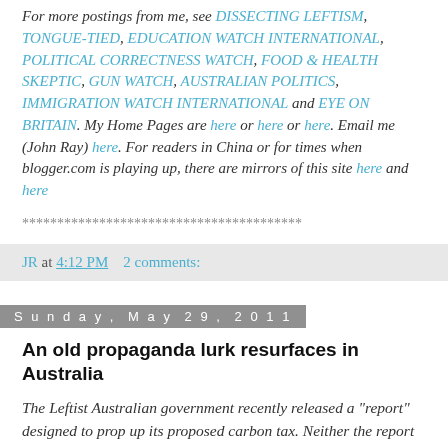For more postings from me, see DISSECTING LEFTISM, TONGUE-TIED, EDUCATION WATCH INTERNATIONAL, POLITICAL CORRECTNESS WATCH, FOOD & HEALTH SKEPTIC, GUN WATCH, AUSTRALIAN POLITICS, IMMIGRATION WATCH INTERNATIONAL and EYE ON BRITAIN. My Home Pages are here or here or here. Email me (John Ray) here. For readers in China or for times when blogger.com is playing up, there are mirrors of this site here and here
****************************************
JR at 4:12 PM    2 comments:
Sunday, May 29, 2011
An old propaganda lurk resurfaces in Australia
The Leftist Australian government recently released a "report" designed to prop up its proposed carbon tax. Neither the report nor the tax has gained much traction, however,